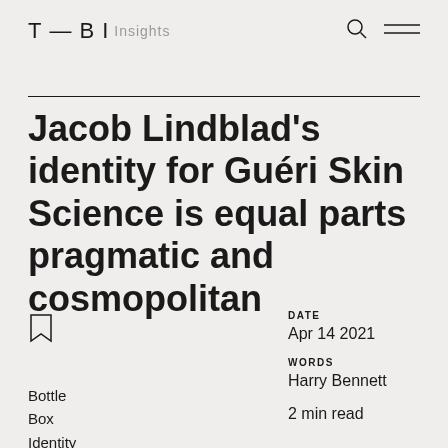T — B I  Insights
Jacob Lindblad's identity for Guéri Skin Science is equal parts pragmatic and cosmopolitan
DATE
Apr 14 2021
WORDS
Harry Bennett
2 min read
Bottle
Box
Identity